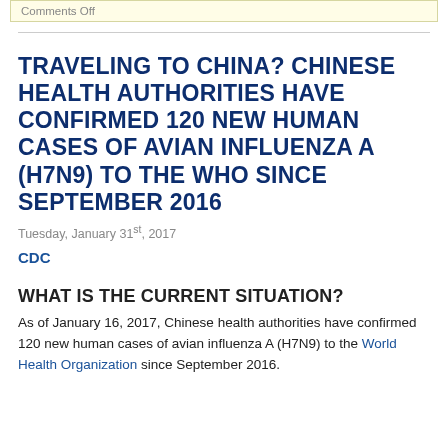Comments Off
TRAVELING TO CHINA? CHINESE HEALTH AUTHORITIES HAVE CONFIRMED 120 NEW HUMAN CASES OF AVIAN INFLUENZA A (H7N9) TO THE WHO SINCE SEPTEMBER 2016
Tuesday, January 31st, 2017
CDC
WHAT IS THE CURRENT SITUATION?
As of January 16, 2017, Chinese health authorities have confirmed 120 new human cases of avian influenza A (H7N9) to the World Health Organization since September 2016.